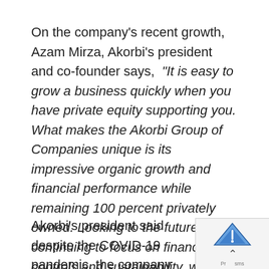On the company's recent growth, Azam Mirza, Akorbi's president and co-founder says, “It is easy to grow a business quickly when you have private equity supporting you. What makes the Akorbi Group of Companies unique is its impressive organic growth and financial performance while remaining 100 percent privately owned. Looking to the future, while continuing to focus on financial controls and sustainability, we plan to assess possible acquisitions while increasing the size and reach of our strategic sales team.”
Akorbi’s president said despite the COVID-19 pandemic, the company has been able to pivot